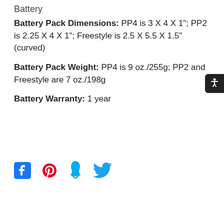Battery
Battery Pack Dimensions: PP4 is 3 X 4 X 1"; PP2 is 2.25 X 4 X 1"; Freestyle is 2.5 X 5.5 X 1.5" (curved)
Battery Pack Weight: PP4 is 9 oz./255g; PP2 and Freestyle are 7 oz./198g
Battery Warranty: 1 year
[Figure (other): Social media share icons: Facebook, Pinterest, Fancy/Fancy app, Twitter]